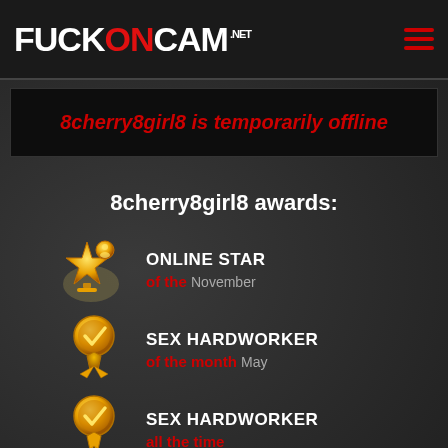FUCKONCAM.net
8cherry8girl8 is temporarily offline
8cherry8girl8 awards:
ONLINE STAR of the November
SEX HARDWORKER of the month May
SEX HARDWORKER all the time